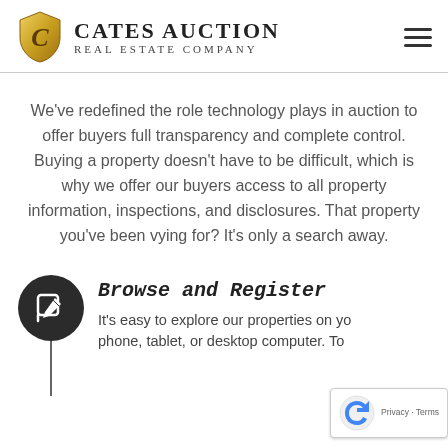Cates Auction Real Estate Company
We've redefined the role technology plays in auction to offer buyers full transparency and complete control. Buying a property doesn't have to be difficult, which is why we offer our buyers access to all property information, inspections, and disclosures. That property you've been vying for? It's only a search away.
[Figure (illustration): Dark circular icon with a pencil/edit symbol inside]
Browse and Register
It's easy to explore our properties on your phone, tablet, or desktop computer. To